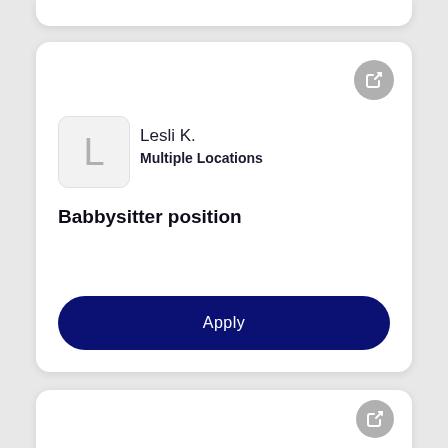[Figure (screenshot): Top partial card (cropped from previous listing)]
Lesli K.
Multiple Locations
Babbysitter position
Apply
Personal Card
Multiple Locations